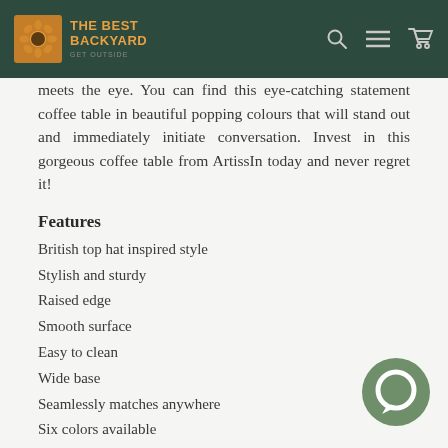THE BEST BACKYARD
meets the eye. You can find this eye-catching statement coffee table in beautiful popping colours that will stand out and immediately initiate conversation. Invest in this gorgeous coffee table from ArtissIn today and never regret it!
Features
British top hat inspired style
Stylish and sturdy
Raised edge
Smooth surface
Easy to clean
Wide base
Seamlessly matches anywhere
Six colors available
Easy assembly
[Figure (illustration): Green circular chat/message bubble icon in bottom right corner]